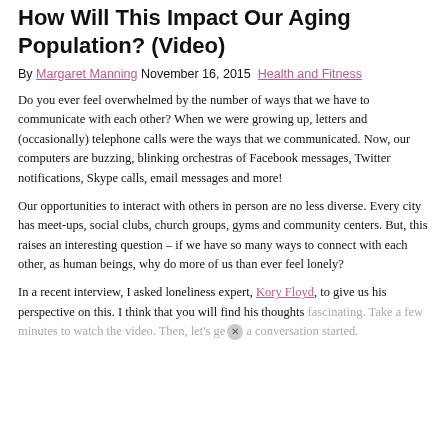How Will This Impact Our Aging Population? (Video)
By Margaret Manning November 16, 2015 Health and Fitness
Do you ever feel overwhelmed by the number of ways that we have to communicate with each other? When we were growing up, letters and (occasionally) telephone calls were the ways that we communicated. Now, our computers are buzzing, blinking orchestras of Facebook messages, Twitter notifications, Skype calls, email messages and more!
Our opportunities to interact with others in person are no less diverse. Every city has meet-ups, social clubs, church groups, gyms and community centers. But, this raises an interesting question – if we have so many ways to connect with each other, as human beings, why do more of us than ever feel lonely?
In a recent interview, I asked loneliness expert, Kory Floyd, to give us his perspective on this. I think that you will find his thoughts fascinating. Take a few minutes to watch the video. Then, let's get a conversation started.